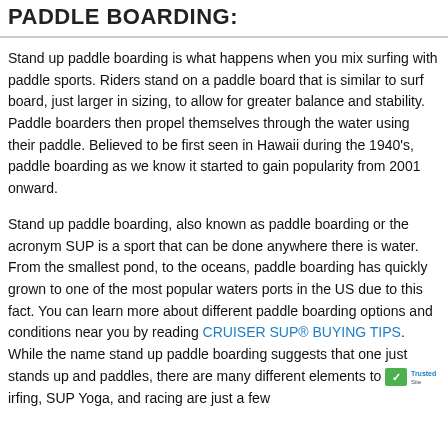PADDLE BOARDING:
Stand up paddle boarding is what happens when you mix surfing with paddle sports. Riders stand on a paddle board that is similar to surf board, just larger in sizing, to allow for greater balance and stability. Paddle boarders then propel themselves through the water using their paddle. Believed to be first seen in Hawaii during the 1940's, paddle boarding as we know it started to gain popularity from 2001 onward.
Stand up paddle boarding, also known as paddle boarding or the acronym SUP is a sport that can be done anywhere there is water. From the smallest pond, to the oceans, paddle boarding has quickly grown to one of the most popular waters ports in the US due to this fact. You can learn more about different paddle boarding options and conditions near you by reading CRUISER SUP® BUYING TIPS. While the name stand up paddle boarding suggests that one just stands up and paddles, there are many different elements to [TrustedSite] irfing, SUP Yoga, and racing are just a few